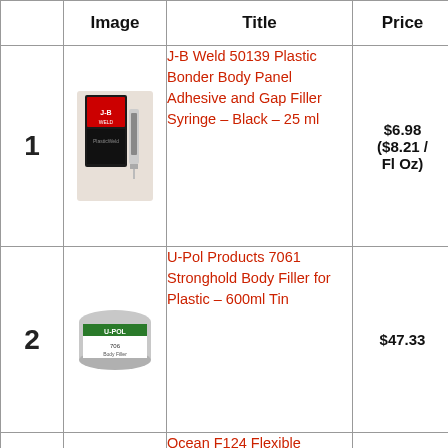|  | Image | Title | Price |  |
| --- | --- | --- | --- | --- |
| 1 | [product image] | J-B Weld 50139 Plastic Bonder Body Panel Adhesive and Gap Filler Syringe – Black – 25 ml | $6.98 ($8.21 / Fl Oz) | Bu An |
| 2 | [product image] | U-Pol Products 7061 Stronghold Body Filler for Plastic – 600ml Tin | $47.33 | Bu An |
| 3 | [product image] | Ocean F124 Flexible | $3_.__ (truncated) | Bu |